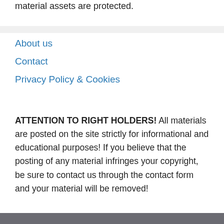material assets are protected.
About us
Contact
Privacy Policy & Cookies
ATTENTION TO RIGHT HOLDERS! All materials are posted on the site strictly for informational and educational purposes! If you believe that the posting of any material infringes your copyright, be sure to contact us through the contact form and your material will be removed!